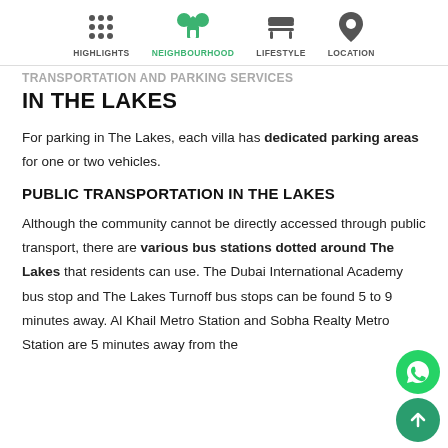HIGHLIGHTS  NEIGHBOURHOOD  LIFESTYLE  LOCATION
TRANSPORTATION AND PARKING SERVICES IN THE LAKES
For parking in The Lakes, each villa has dedicated parking areas for one or two vehicles.
PUBLIC TRANSPORTATION IN THE LAKES
Although the community cannot be directly accessed through public transport, there are various bus stations dotted around The Lakes that residents can use. The Dubai International Academy bus stop and The Lakes Turnoff bus stops can be found 5 to 9 minutes away. Al Khail Metro Station and Sobha Realty Metro Station are 5 minutes away from the